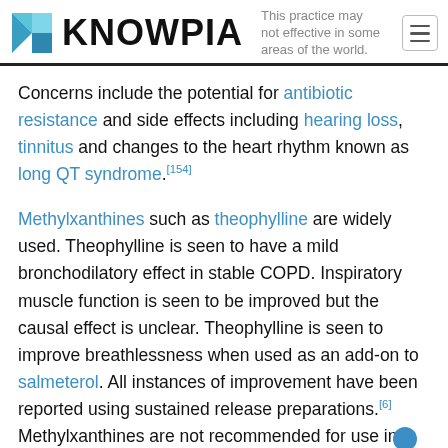KNOWPIA — This practice may not be effective in some areas of the world.
Concerns include the potential for antibiotic resistance and side effects including hearing loss, tinnitus and changes to the heart rhythm known as long QT syndrome.[154]
Methylxanthines such as theophylline are widely used. Theophylline is seen to have a mild bronchodilatory effect in stable COPD. Inspiratory muscle function is seen to be improved but the causal effect is unclear. Theophylline is seen to improve breathlessness when used as an add-on to salmeterol. All instances of improvement have been reported using sustained release preparations.[6] Methylxanthines are not recommended for use in exacerbations due to adverse effects.[30]